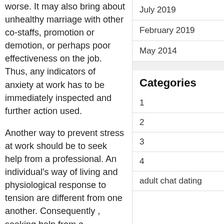worse. It may also bring about unhealthy marriage with other co-staffs, promotion or demotion, or perhaps poor effectiveness on the job. Thus, any indicators of anxiety at work has to be immediately inspected and further action used.
Another way to prevent stress at work should be to seek help from a professional. An individual’s way of living and physiological response to tension are different from one another. Consequently , seeking help from a knowledgeable health professional may well prove to be incredibly beneficial. Practitioners, psychologists, and
July 2019
February 2019
May 2014
Categories
1
2
3
4
adult chat dating